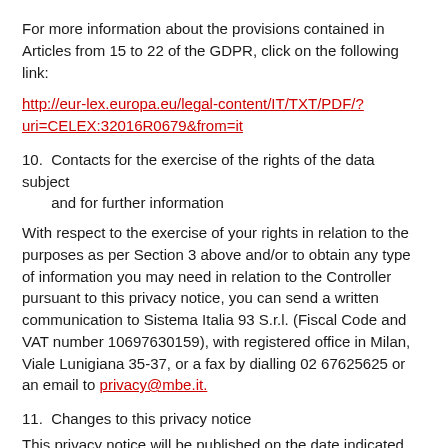For more information about the provisions contained in Articles from 15 to 22 of the GDPR, click on the following link:
http://eur-lex.europa.eu/legal-content/IT/TXT/PDF/?uri=CELEX:32016R0679&from=it
10. Contacts for the exercise of the rights of the data subject and for further information
With respect to the exercise of your rights in relation to the purposes as per Section 3 above and/or to obtain any type of information you may need in relation to the Controller pursuant to this privacy notice, you can send a written communication to Sistema Italia 93 S.r.l. (Fiscal Code and VAT number 10697630159), with registered office in Milan, Viale Lunigiana 35-37, or a fax by dialling 02 67625625 or an email to privacy@mbe.it.
11. Changes to this privacy notice
This privacy notice will be published on the date indicated below